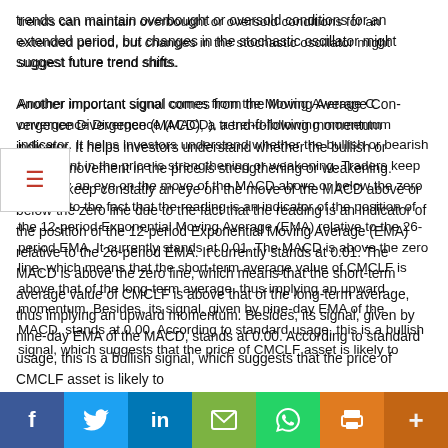trends can maintain overbought or oversold conditions for an extended period, but changes in the stochastic oscillator might suggest future trend shifts.

Another important signal comes from the Moving Average Convergence Divergence (MACD), a trend-following momentum indicator. It helps investors understand whether the bullish or bearish movement in the price is strengthening or weakening. Traders keep constatly an eye on the move of the MACD above or below the zero line due to the fact that the reading is an indicator of the position of the 12-period Exponential Moving Average (EMA) relative to the 26-period EMA. It currently stands at 0.01. The MACD is above the zero line, which means that the short-term average value of CMCLF is above that of the long-term average, thus implying an upward momentum. Besides, its signal, given by nine-day EMA of the MACD, stands at 0.00. According to standard usage, this is a bullish signal, which suggests that the price of CMCLF asset is likely to
Social share bar: Facebook, Twitter, LinkedIn, Email, WhatsApp, Print, More